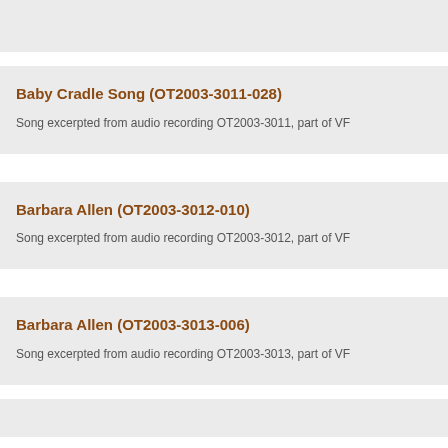(partial card top, cut off)
Baby Cradle Song (OT2003-3011-028)
Song excerpted from audio recording OT2003-3011, part of VF
Barbara Allen (OT2003-3012-010)
Song excerpted from audio recording OT2003-3012, part of VF
Barbara Allen (OT2003-3013-006)
Song excerpted from audio recording OT2003-3013, part of VF